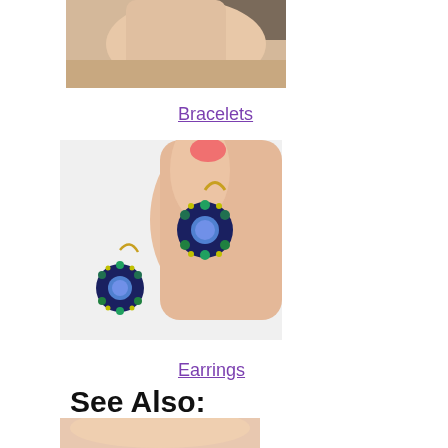[Figure (photo): Cropped photo of a hand holding a bracelet, with ORCHID and OPAL watermark text visible at top left]
Bracelets
[Figure (photo): Hand with pink nail polish holding two blue crystal flower-shaped beaded earrings with gold lever-back hooks against a white background]
Earrings
See Also:
[Figure (photo): Partially visible photo at bottom of page, showing skin tones]